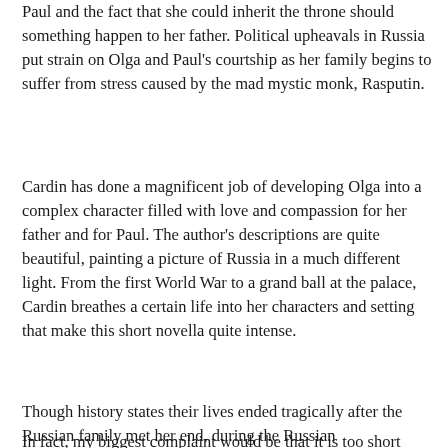Paul and the fact that she could inherit the throne should something happen to her father. Political upheavals in Russia put strain on Olga and Paul's courtship as her family begins to suffer from stress caused by the mad mystic monk, Rasputin.
Cardin has done a magnificent job of developing Olga into a complex character filled with love and compassion for her father and for Paul. The author's descriptions are quite beautiful, painting a picture of Russia in a much different light. From the first World War to a grand ball at the palace, Cardin breathes a certain life into her characters and setting that make this short novella quite intense.
In fact, my biggest complaint would be that it is too short (under 200 pages) and leaves a bit of detail up to the readers to go research on their own. I would have enjoyed at least another 200 pages where the author paints more thorough story lines for Olga's siblings, her parents, or even more back story about Paul.
Though history states their lives ended tragically after the Russian family met her end, during the Russian...